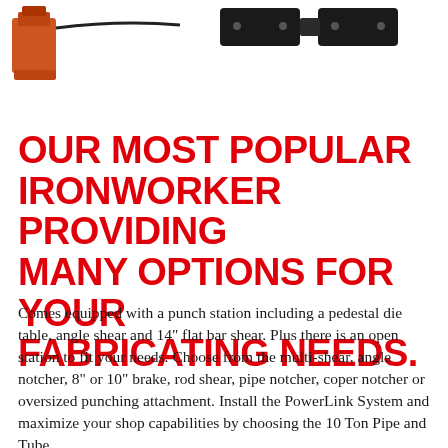[Figure (photo): Product photo showing an ironworker machine component — an orange/red clamp on the left and black rectangular tool attachments on the right against a white background.]
OUR MOST POPULAR IRONWORKER PROVIDING MANY OPTIONS FOR YOUR FABRICATING NEEDS.
Comes equipped with a punch station including a pedestal die table, angle shear and 14" flat bar shear. Plus there is an open station to fit your needs. Choose from the multi-shear, angle notcher, 8" or 10" brake, rod shear, pipe notcher, coper notcher or oversized punching attachment. Install the PowerLink System and maximize your shop capabilities by choosing the 10 Ton Pipe and Tube